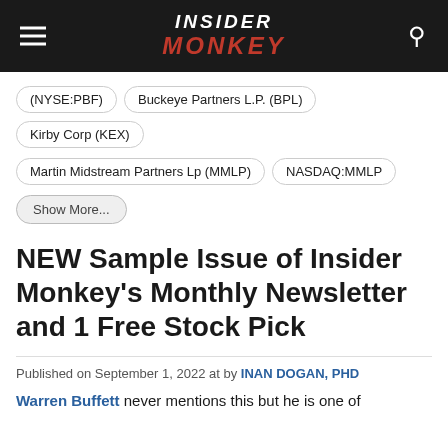INSIDER MONKEY
(NYSE:PBF)
Buckeye Partners L.P. (BPL)
Kirby Corp (KEX)
Martin Midstream Partners Lp (MMLP)
NASDAQ:MMLP
Show More...
NEW Sample Issue of Insider Monkey's Monthly Newsletter and 1 Free Stock Pick
Published on September 1, 2022 at by INAN DOGAN, PHD
Warren Buffett never mentions this but he is one of